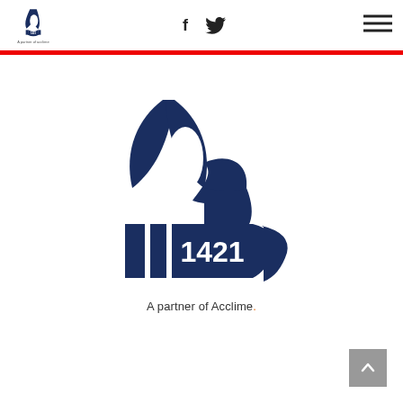[Figure (logo): Small 1421 logo with sailboat emblem in header, top left]
[Figure (logo): Social media icons: Facebook f and Twitter bird, centered in header]
[Figure (logo): Hamburger menu icon, top right of header]
[Figure (logo): Large 1421 main logo with dark navy blue stylized sailboat/anchor emblem and '1421' text below]
A partner of Acclime.